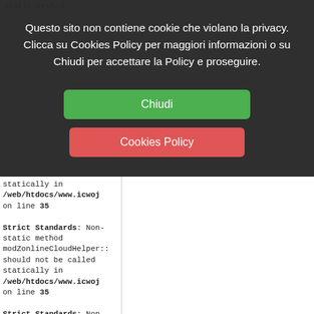static method
modZonlineCloudHelper:: (partial, cut off)
Questo sito non contiene cookie che violano la privacy. Clicca su Cookies Policy per maggiori informazioni o su Chiudi per accettare la Policy e proseguire.
Chiudi
Cookies Policy
statically in /web/htdocs/www.icwoj on line 35
Strict Standards: Non-static method modZonlineCloudHelper:: should not be called statically in /web/htdocs/www.icwoj on line 35
Strict Standards: Non-